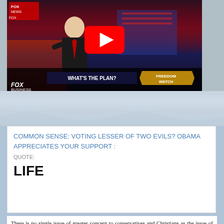[Figure (screenshot): Fox Business Freedom Watch YouTube video thumbnail showing a news anchor in black suit with red tie, lower-third bar reading WHAT'S THE PLAN? and FREEDOM WATCH, Fox Business logo bottom left, YouTube play button overlay]
COMMON SENSE: VOTING LESSER OF TWO EVILS? OBAMA APPRECIATES YOUR SUPPORT :
QUOTE:
LIFE
There is no single issue of greater concern to conservatives and Christians as the issue of life. Without it, there are no other rights, and all